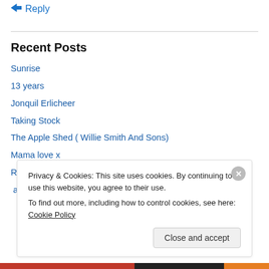Reply
Recent Posts
Sunrise
13 years
Jonquil Erlicheer
Taking Stock
The Apple Shed ( Willie Smith And Sons)
Mama love x
Right now..
a first day. surprising happiness.
Privacy & Cookies: This site uses cookies. By continuing to use this website, you agree to their use.
To find out more, including how to control cookies, see here: Cookie Policy
Close and accept